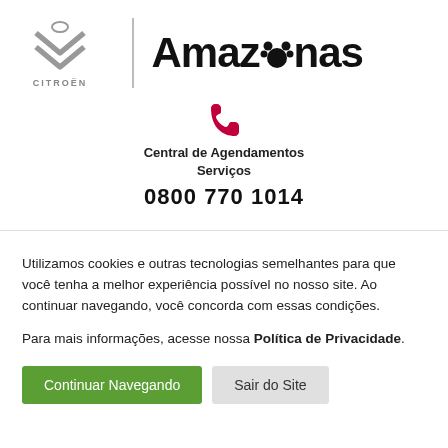[Figure (logo): Citroën logo (double chevron) on the left, vertical divider, and Amazonas pet shop logo on the right]
[Figure (infographic): Red phone icon above text 'Central de Agendamentos Serviços' and phone number '0800 770 1014']
Central de Agendamentos Serviços
0800 770 1014
Utilizamos cookies e outras tecnologias semelhantes para que você tenha a melhor experiência possível no nosso site. Ao continuar navegando, você concorda com essas condições.
Para mais informações, acesse nossa Política de Privacidade.
Continuar Navegando
Sair do Site